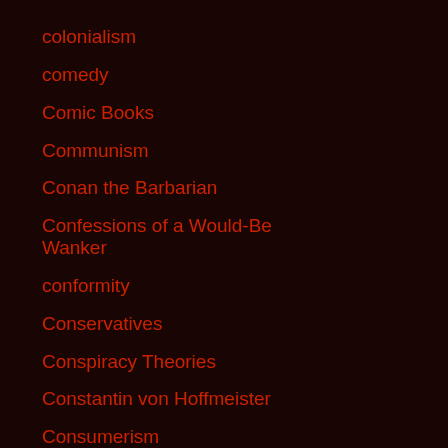colonialism
comedy
Comic Books
Communism
Conan the Barbarian
Confessions of a Would-Be Wanker
conformity
Conservatives
Conspiracy Theories
Constantin von Hoffmeister
Consumerism
Control
coronavirus
Corporate Welfare